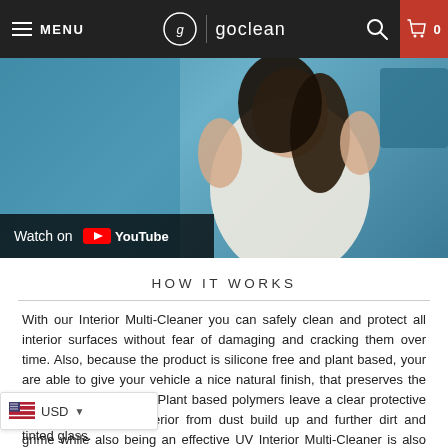MENU | goclean | 0
[Figure (screenshot): Video thumbnail showing a woman in a white sweater with hands raised, blue background, with a YouTube 'Watch on YouTube' overlay button at bottom left]
HOW IT WORKS
With our Interior Multi-Cleaner you can safely clean and protect all interior surfaces without fear of damaging and cracking them over time. Also, because the product is silicone free and plant based, your are able to give your vehicle a nice natural finish, that preserves the integrity of the interior. Plant based polymers leave a clear protective coat, safeguarding interior from dust build up and further dirt and grime while also being an effective UV Interior Multi-Cleaner is also safe for glass and tinted glass.